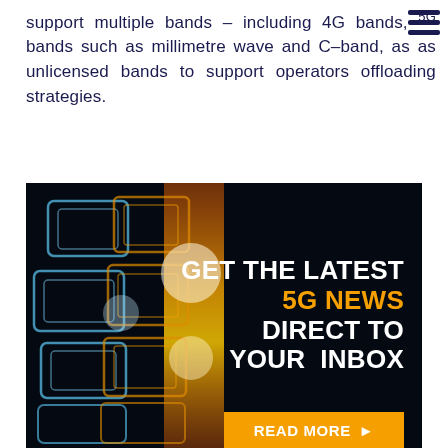support multiple bands – including 4G bands, 5G bands such as millimetre wave and C-band, as well as unlicensed bands to support operators offloading strategies.
[Figure (illustration): Advertisement banner with dark background featuring glowing blue and orange circuit/network rectangular shapes on the left side, with text 'GET THE LATEST 5G NEWS DIRECT TO YOUR INBOX' on the right, and a 'READ MORE ▶' orange button at the bottom right.]